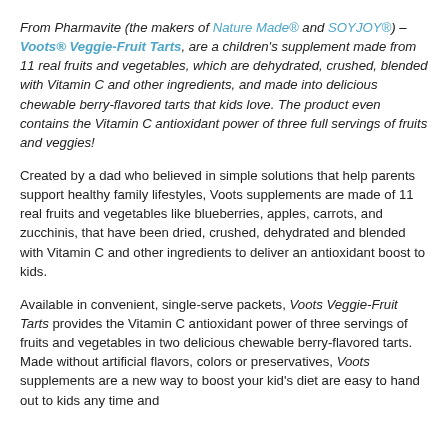From Pharmavite (the makers of Nature Made® and SOYJOY®) – Voots® Veggie-Fruit Tarts, are a children's supplement made from 11 real fruits and vegetables, which are dehydrated, crushed, blended with Vitamin C and other ingredients, and made into delicious chewable berry-flavored tarts that kids love. The product even contains the Vitamin C antioxidant power of three full servings of fruits and veggies!
Created by a dad who believed in simple solutions that help parents support healthy family lifestyles, Voots supplements are made of 11 real fruits and vegetables like blueberries, apples, carrots, and zucchinis, that have been dried, crushed, dehydrated and blended with Vitamin C and other ingredients to deliver an antioxidant boost to kids.
Available in convenient, single-serve packets, Voots Veggie-Fruit Tarts provides the Vitamin C antioxidant power of three servings of fruits and vegetables in two delicious chewable berry-flavored tarts. Made without artificial flavors, colors or preservatives, Voots supplements are a new way to boost your kid's diet are easy to hand out to kids any time and